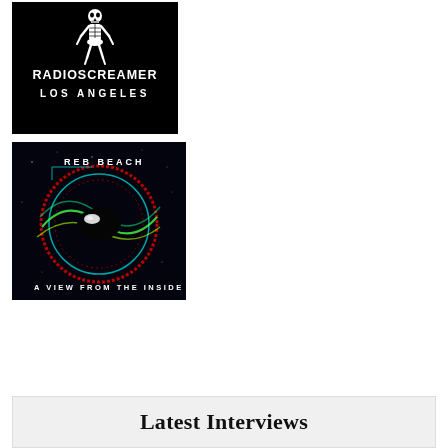[Figure (logo): RadioScreamer Los Angeles logo — black background with white skeleton figure and bold white text reading RADIOSCREAMER and LOS ANGELES]
[Figure (illustration): Album cover for Reb Beach - A View From The Inside. Dark space background with a glowing circular eye/vortex design in red, cyan, and green, with text REB BEACH at top and A VIEW FROM THE INSIDE at bottom.]
Latest Interviews